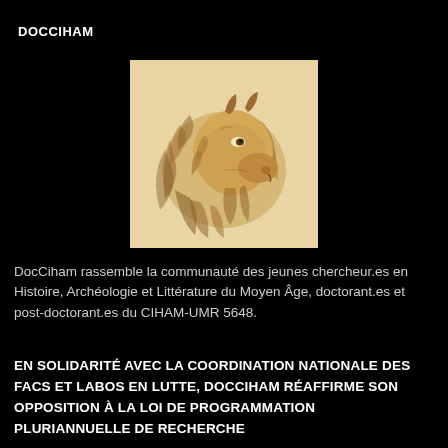DOCCIHAM
[Figure (illustration): Medieval drawing of a lion's head in profile, rendered in brown ink on a pale background, with flowing mane and horns.]
DocCiham rassemble la communauté des jeunes chercheur.es en Histoire, Archéologie et Littérature du Moyen Âge, doctorant.es et post-doctorant.es du CIHAM-UMR 5648.
EN SOLIDARITÉ AVEC LA COORDINATION NATIONALE DES FACS ET LABOS EN LUTTE, DOCCIHAM RÉAFFIRME SON OPPOSITION À LA LOI DE PROGRAMMATION PLURIANNUELLE DE RECHERCHE